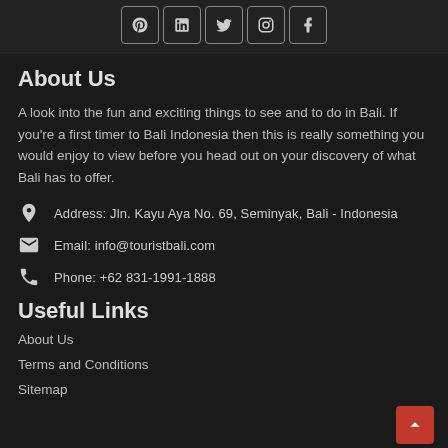[Figure (other): Social media icon buttons: Pinterest, LinkedIn, Twitter, Instagram, Facebook]
About Us
A look into the fun and exciting things to see and to do in Bali. If you're a first timer to Bali Indonesia then this is really something you would enjoy to view before you head out on your discovery of what Bali has to offer.
Address: Jln. Kayu Aya No. 69, Seminyak, Bali - Indonesia
Email: info@touristbali.com
Phone: +62 831-1991-1888
Useful Links
About Us
Terms and Conditions
Sitemap